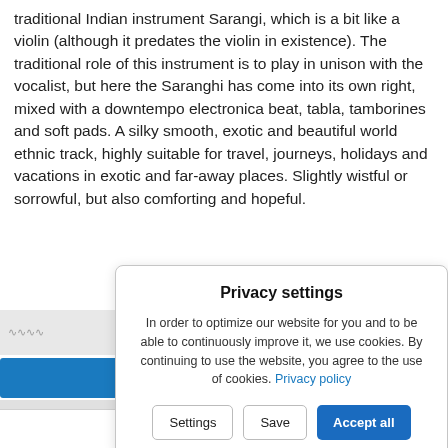traditional Indian instrument Sarangi, which is a bit like a violin (although it predates the violin in existence). The traditional role of this instrument is to play in unison with the vocalist, but here the Saranghi has come into its own right, mixed with a downtempo electronica beat, tabla, tamborines and soft pads. A silky smooth, exotic and beautiful world ethnic track, highly suitable for travel, journeys, holidays and vacations in exotic and far-away places. Slightly wistful or sorrowful, but also comforting and hopeful.
[Figure (screenshot): Green Play button with triangle icon]
[Figure (screenshot): Privacy settings dialog box with Settings, Save, and Accept all buttons, and a link to Privacy policy]
Find related Tracks